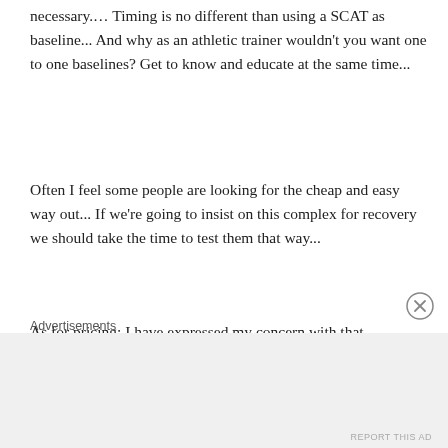necessary.... Timing is no different than using a SCAT as baseline... And why as an athletic trainer wouldn't you want one to one baselines? Get to know and educate at the same time...
Often I feel some people are looking for the cheap and easy way out... If we're going to insist on this complex for recovery we should take the time to test them that way...
As for pricing; I have expressed my concern with that...
Advertisements